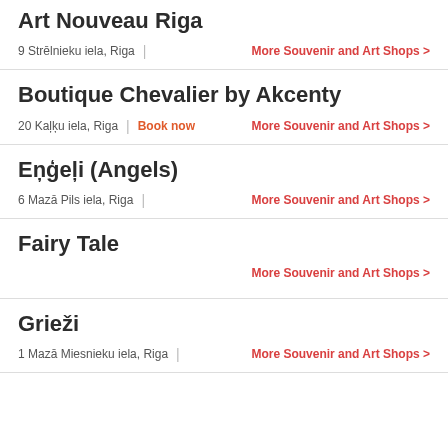Art Nouveau Riga
9 Strēlnieku iela, Riga | More Souvenir and Art Shops >
Boutique Chevalier by Akcenty
20 Kaļķu iela, Riga | Book now | More Souvenir and Art Shops >
Eņģeļi (Angels)
6 Mazā Pils iela, Riga | More Souvenir and Art Shops >
Fairy Tale
More Souvenir and Art Shops >
Grieži
1 Mazā Miesnieku iela, Riga | More Souvenir and Art Shops >